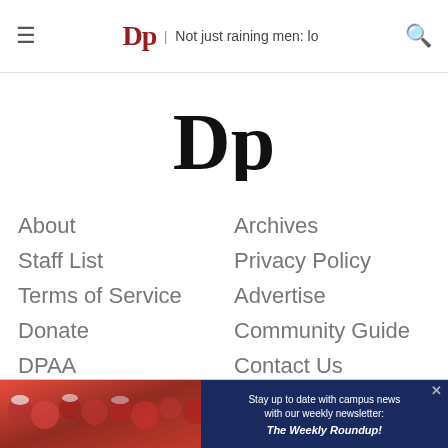DP | Not just raining men: lo
[Figure (logo): DP blackletter logo centered]
About
Archives
Staff List
Privacy Policy
Terms of Service
Advertise
Donate
Community Guide
DPAA
Contact Us
Copyright © 2022 The Daily Pennsylvanian, Inc. All Rights Reserved. Powered by Squareworks Solutions by The State News.
[Figure (infographic): Advertisement banner with crowd photo and newsletter signup]